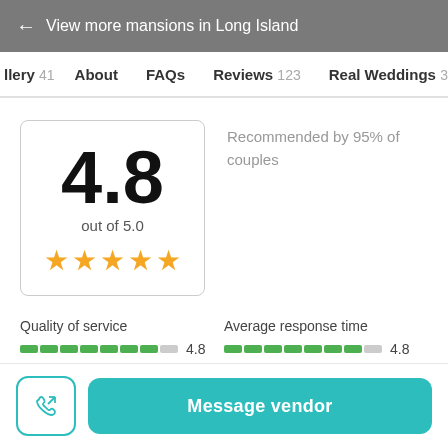← View more mansions in Long Island
llery 41   About   FAQs   Reviews 123   Real Weddings 3
4.8
out of 5.0
★★★★★
Recommended by 95% of couples
Quality of service   4.8
Average response time   4.8
Message vendor